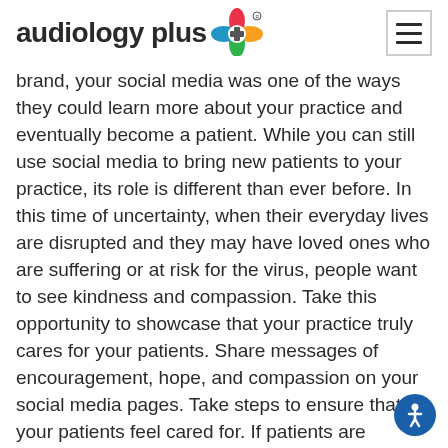audiology plus [logo]
brand, your social media was one of the ways they could learn more about your practice and eventually become a patient. While you can still use social media to bring new patients to your practice, its role is different than ever before. In this time of uncertainty, when their everyday lives are disrupted and they may have loved ones who are suffering or at risk for the virus, people want to see kindness and compassion. Take this opportunity to showcase that your practice truly cares for your patients. Share messages of encouragement, hope, and compassion on your social media pages. Take steps to ensure that your patients feel cared for. If patients are canceling or rescheduling their appointments, consider